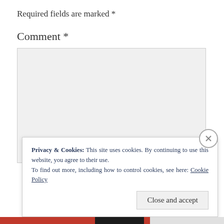Required fields are marked *
Comment *
[Figure (screenshot): Empty textarea input box with light gray background and resize handle in bottom-right corner]
Privacy & Cookies: This site uses cookies. By continuing to use this website, you agree to their use.
To find out more, including how to control cookies, see here: Cookie Policy
Close and accept